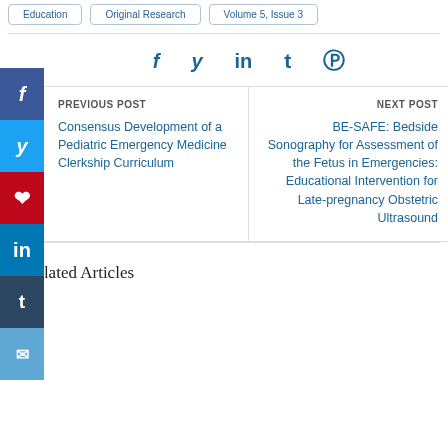Education | Original Research | Volume 5, Issue 3
f  y  in  t  (pinterest)
PREVIOUS POST
Consensus Development of a Pediatric Emergency Medicine Clerkship Curriculum
NEXT POST
BE-SAFE: Bedside Sonography for Assessment of the Fetus in Emergencies: Educational Intervention for Late-pregnancy Obstetric Ultrasound
Related Articles